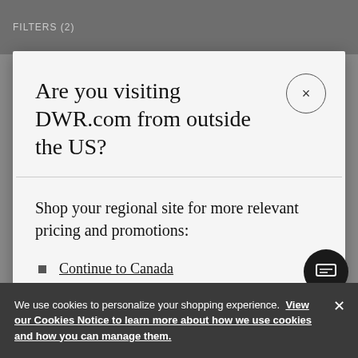FILTERS (2)
Are you visiting DWR.com from outside the US?
Shop your regional site for more relevant pricing and promotions:
Continue to Canada
Continue to United States
We use cookies to personalize your shopping experience. View our Cookies Notice to learn more about how we use cookies and how you can manage them.